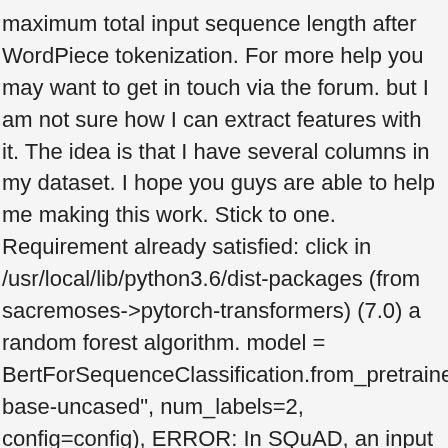maximum total input sequence length after WordPiece tokenization. For more help you may want to get in touch via the forum. but I am not sure how I can extract features with it. The idea is that I have several columns in my dataset. I hope you guys are able to help me making this work. Stick to one. Requirement already satisfied: click in /usr/local/lib/python3.6/dist-packages (from sacremoses->pytorch-transformers) (7.0) a random forest algorithm. model = BertForSequenceClassification.from_pretrained("bert-base-uncased", num_labels=2, config=config), ERROR: In SQuAD, an input consists of a question, and a paragraph for context. Thank you so much for such a timely response! The main class ExtractPageFeatures takes as an input a raw HTML file and produces a CSV file with features for the Boilerplate Removal